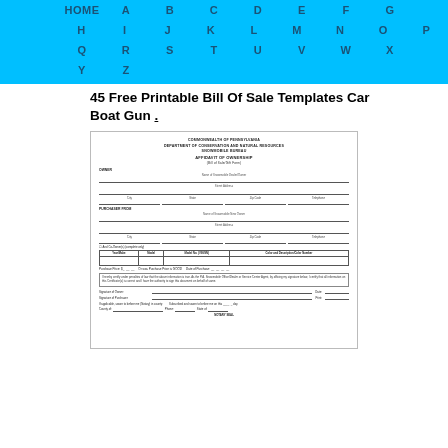HOME  A  B  C  D  E  F  G  H  I  J  K  L  M  N  O  P  Q  R  S  T  U  V  W  X  Y  Z
45 Free Printable Bill Of Sale Templates Car Boat Gun .
[Figure (other): Scanned image of a Commonwealth of Pennsylvania Department of Conservation and Natural Resources Snowmobile Bureau Affidavit of Ownership form, showing fields for owner and purchaser information, a table for vehicle details, purchase price, certification text, signature lines, and notary section.]